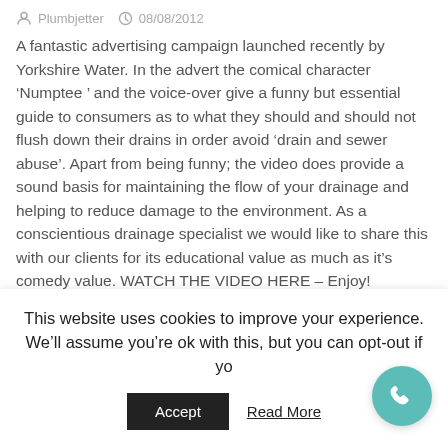Plumbjetter  08/08/2012
A fantastic advertising campaign launched recently by Yorkshire Water. In the advert the comical character ‘Numptee’ and the voice-over give a funny but essential guide to consumers as to what they should and should not flush down their drains in order avoid ‘drain and sewer abuse’. Apart from being funny; the video does provide a sound basis for maintaining the flow of your drainage and helping to reduce damage to the environment. As a conscientious drainage specialist we would like to share this with our clients for its educational value as much as it’s comedy value. WATCH THE VIDEO HERE – Enjoy!
Blocked Drains
Blocked Pipes
This website uses cookies to improve your experience. We’ll assume you’re ok with this, but you can opt-out if yo
Accept
Read More